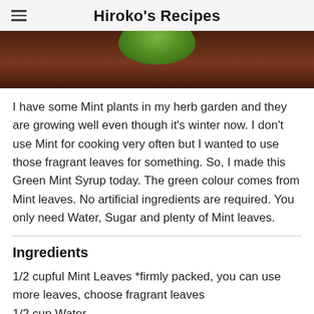Hiroko's Recipes
[Figure (photo): Partial overhead photo of a green bowl or plate on a wooden surface, showing the bottom edge of the bowl and a dark wood table background.]
I have some Mint plants in my herb garden and they are growing well even though it's winter now. I don't use Mint for cooking very often but I wanted to use those fragrant leaves for something. So, I made this Green Mint Syrup today. The green colour comes from Mint leaves. No artificial ingredients are required. You only need Water, Sugar and plenty of Mint leaves.
Ingredients
1/2 cupful Mint Leaves *firmly packed, you can use more leaves, choose fragrant leaves
1/2 cup Water